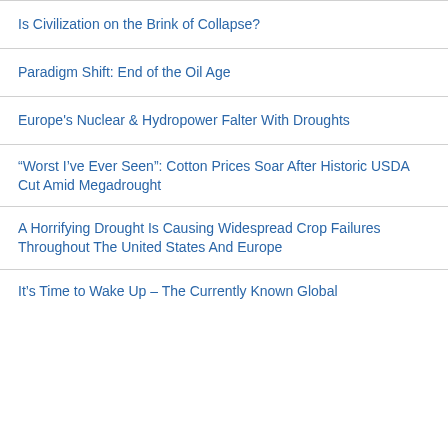Is Civilization on the Brink of Collapse?
Paradigm Shift: End of the Oil Age
Europe's Nuclear & Hydropower Falter With Droughts
“Worst I’ve Ever Seen”: Cotton Prices Soar After Historic USDA Cut Amid Megadrought
A Horrifying Drought Is Causing Widespread Crop Failures Throughout The United States And Europe
It’s Time to Wake Up – The Currently Known Global